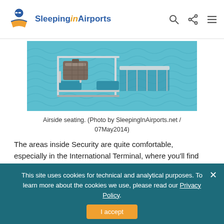Sleeping in Airports
[Figure (photo): Airside airport seating — teal/blue cushioned chairs with metal frames on a patterned floor, luggage visible on the seats]
Airside seating.  (Photo by SleepingInAirports.net / 07May2014)
The areas inside Security are quite comfortable, especially in the International Terminal, where you'll find plenty of normal armrest-free airport seats, plus seats with footstools and cushioned block-like furniture. Pre-Security, you'll have to look a little harder, but you'll be able to find some comfy spots.
This site uses cookies for technical and analytical purposes. To learn more about the cookies we use, please read our Privacy Policy.
I accept